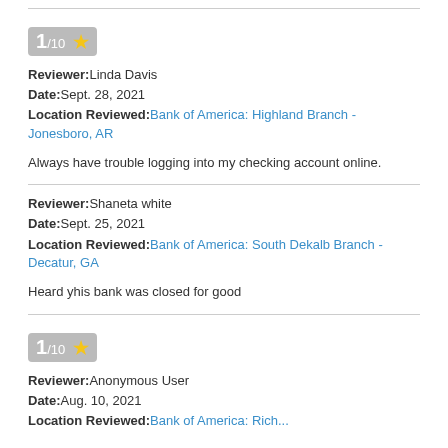1/10 ★
Reviewer: Linda Davis
Date: Sept. 28, 2021
Location Reviewed: Bank of America: Highland Branch - Jonesboro, AR
Always have trouble logging into my checking account online.
Reviewer: Shaneta white
Date: Sept. 25, 2021
Location Reviewed: Bank of America: South Dekalb Branch - Decatur, GA
Heard yhis bank was closed for good
1/10 ★
Reviewer: Anonymous User
Date: Aug. 10, 2021
Location Reviewed: Bank of America: Rich...